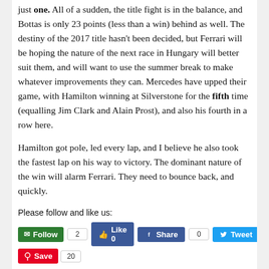just one. All of a sudden, the title fight is in the balance, and Bottas is only 23 points (less than a win) behind as well. The destiny of the 2017 title hasn't been decided, but Ferrari will be hoping the nature of the next race in Hungary will better suit them, and will want to use the summer break to make whatever improvements they can. Mercedes have upped their game, with Hamilton winning at Silverstone for the fifth time (equalling Jim Clark and Alain Prost), and also his fourth in a row here.
Hamilton got pole, led every lap, and I believe he also took the fastest lap on his way to victory. The dominant nature of the win will alarm Ferrari. They need to bounce back, and quickly.
Please follow and like us:
[Figure (other): Social sharing buttons: Follow (green, count 2), Like 0 (Facebook blue), Share (Facebook blue, count 0), Tweet (Twitter blue), Save (Pinterest red, count 20)]
Share this:
[Figure (other): Share buttons: Twitter and Facebook outline buttons]